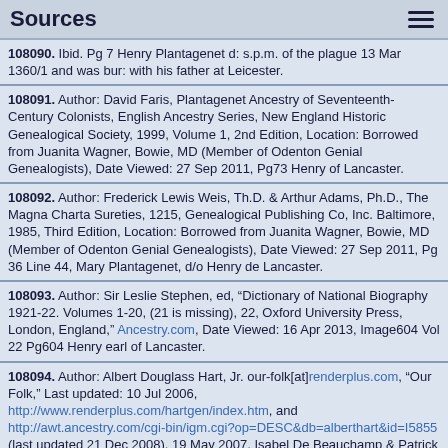Sources
108090. Ibid. Pg 7 Henry Plantagenet d: s.p.m. of the plague 13 Mar 1360/1 and was bur: with his father at Leicester.
108091. Author: David Faris, Plantagenet Ancestry of Seventeenth-Century Colonists, English Ancestry Series, New England Historic Genealogical Society, 1999, Volume 1, 2nd Edition, Location: Borrowed from Juanita Wagner, Bowie, MD (Member of Odenton Genial Genealogists), Date Viewed: 27 Sep 2011, Pg73 Henry of Lancaster.
108092. Author: Frederick Lewis Weis, Th.D. & Arthur Adams, Ph.D., The Magna Charta Sureties, 1215, Genealogical Publishing Co, Inc. Baltimore, 1985, Third Edition, Location: Borrowed from Juanita Wagner, Bowie, MD (Member of Odenton Genial Genealogists), Date Viewed: 27 Sep 2011, Pg 36 Line 44, Mary Plantagenet, d/o Henry de Lancaster.
108093. Author: Sir Leslie Stephen, ed, "Dictionary of National Biography 1921-22. Volumes 1-20, (21 is missing), 22, Oxford University Press, London, England," Ancestry.com, Date Viewed: 16 Apr 2013, Image604 Vol 22 Pg604 Henry earl of Lancaster.
108094. Author: Albert Douglass Hart, Jr. our-folk[at]renderplus.com, "Our Folk," Last updated: 10 Jul 2006, http://www.renderplus.com/hartgen/index.htm, and http://awt.ancestry.com/cgi-bin/igm.cgi?op=DESC&db=alberthart&id=I5855 (last updated 21 Dec 2008), 19 May 2007, Isabel De Beauchamp & Patrick de Chaworth ch: Maud de Chaworth + Henry Plantagenet. Based on the original "Our Folk" compiled by Albert Thomas Hart in 1972 with help from Albert Douglass Hart Sr., Cara Hart and others
108095. The Complete Peerage of England Scotland Ireland Great Britain & the United Kingdom, George Edward Cokayne, London, George Bell &